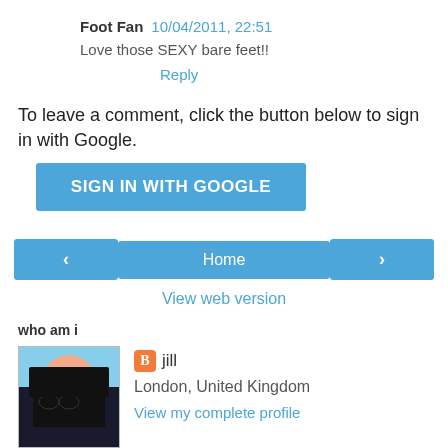Foot Fan  10/04/2011, 22:51
Love those SEXY bare feet!!
Reply
To leave a comment, click the button below to sign in with Google.
SIGN IN WITH GOOGLE
‹
Home
›
View web version
who am i
jill
London, United Kingdom
View my complete profile